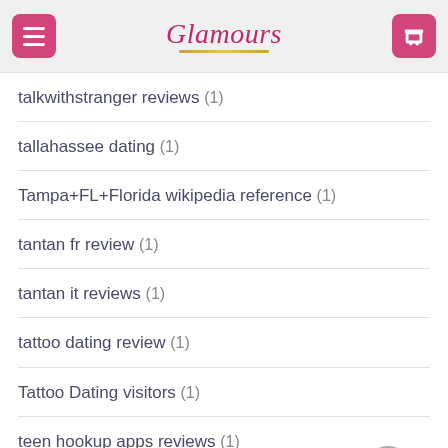Glamours
talkwithstranger reviews (1)
tallahassee dating (1)
Tampa+FL+Florida wikipedia reference (1)
tantan fr review (1)
tantan it reviews (1)
tattoo dating review (1)
Tattoo Dating visitors (1)
teen hookup apps reviews (1)
teenchat eliminare l'account (1)
teenchat it reviews (1)